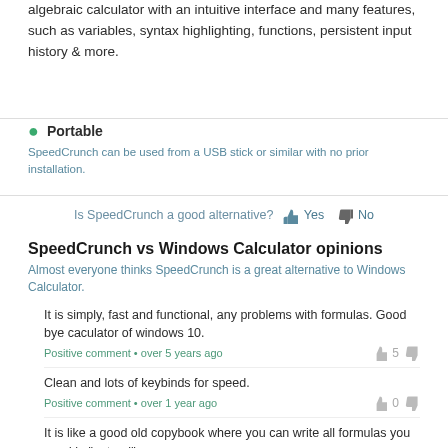algebraic calculator with an intuitive interface and many features, such as variables, syntax highlighting, functions, persistent input history & more.
Portable
SpeedCrunch can be used from a USB stick or similar with no prior installation.
Is SpeedCrunch a good alternative? Yes No
SpeedCrunch vs Windows Calculator opinions
Almost everyone thinks SpeedCrunch is a great alternative to Windows Calculator.
It is simply, fast and functional, any problems with formulas. Good bye caculator of windows 10.
Positive comment • over 5 years ago
Clean and lots of keybinds for speed.
Positive comment • over 1 year ago
It is like a good old copybook where you can write all formulas you need in "natural" way.